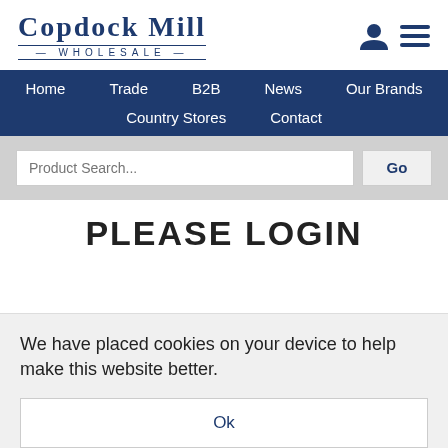[Figure (logo): Copdock Mill Wholesale logo with stylized serif text and decorative line under main title]
Home   Trade   B2B   News   Our Brands   Country Stores   Contact
Product Search...
PLEASE LOGIN
We have placed cookies on your device to help make this website better.
Ok